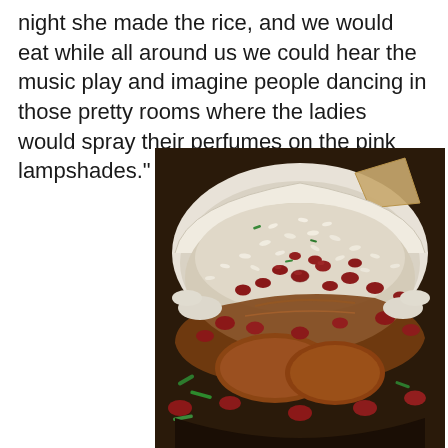night she made the rice, and we would eat while all around us we could hear the music play and imagine people dancing in those pretty rooms where the ladies would spray their perfumes on the pink lampshades."
[Figure (photo): A white bowl filled with red beans and rice dish, showing kidney beans in a brown sauce over white rice, with green onions visible. A tortilla chip is visible at the top of the bowl.]